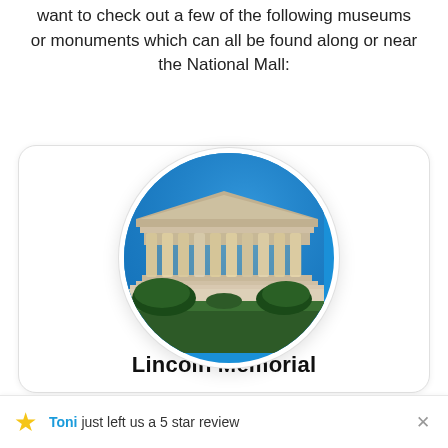want to check out a few of the following museums or monuments which can all be found along or near the National Mall:
[Figure (photo): Circular photo of the Lincoln Memorial at dusk/night, with illuminated columns and blue sky background]
Lincoln Memorial
Toni just left us a 5 star review